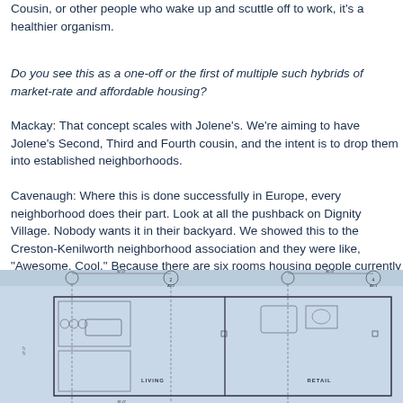Cousin, or other people who wake up and scuttle off to work, it's a healthier organism.
Do you see this as a one-off or the first of multiple such hybrids of market-rate and affordable housing?
Mackay: That concept scales with Jolene's. We're aiming to have Jolene's Second, Third and Fourth cousin, and the intent is to drop them into established neighborhoods.
Cavenaugh: Where this is done successfully in Europe, every neighborhood does their part. Look at all the pushback on Dignity Village. Nobody wants it in their backyard. We showed this to the Creston-Kenilworth neighborhood association and they were like, "Awesome. Cool." Because there are six rooms housing people currently without homes, not a hundred and six. I want to put these in Montavilla and Portland Heights and Irvington. In Europe it's a given that everyone does their part to absorb these into the community. The success of those models is really high. We're not reinventing the wheel here. We're dusting off a centuries-old model.
[Figure (engineering-diagram): Architectural/engineering floor plan blueprint showing a building layout with rooms including Living area and Retail space, with dimension lines and column markers.]